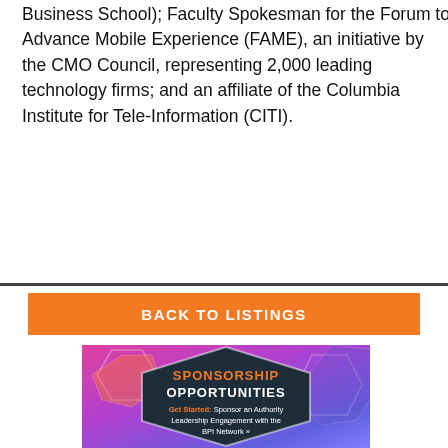Business School); Faculty Spokesman for the Forum to Advance Mobile Experience (FAME), an initiative by the CMO Council, representing 2,000 leading technology firms; and an affiliate of the Columbia Institute for Tele-Information (CITI).
BACK TO LISTINGS
[Figure (infographic): Sponsorship opportunities banner with colorful hexagonal background in pink, purple, and blue. Central dark hexagon contains text: SPONSORSHIP OPPORTUNITIES in orange and white bold, followed by 'Get Started: Sponsor an Authority Leadership Engagement with the BPI Network »']